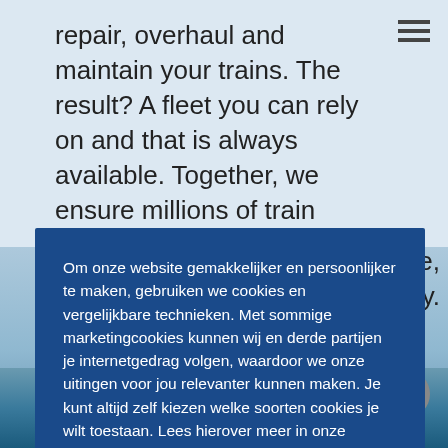repair, overhaul and maintain your trains. The result? A fleet you can rely on and that is always available. Together, we ensure millions of train [passengers arrive] on time, [every day] every day.
[Figure (photo): Outdoor scene with a blue crane/tower structure against a sky background, with colorful flags or banners at the bottom]
Om onze website gemakkelijker en persoonlijker te maken, gebruiken we cookies en vergelijkbare technieken. Met sommige marketingcookies kunnen wij en derde partijen je internetgedrag volgen, waardoor we onze uitingen voor jou relevanter kunnen maken. Je kunt altijd zelf kiezen welke soorten cookies je wilt toestaan. Lees hierover meer in onze cookieverklaring. Door te klikken op "Alles accepteren", ga je akkoord met cookies uit alle categorieën.
Cookie Settings
Accepteren